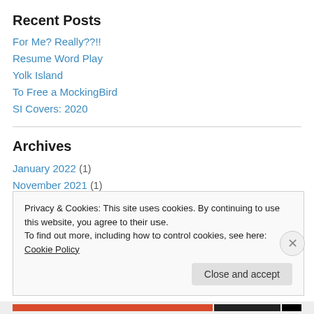Recent Posts
For Me? Really??!!
Resume Word Play
Yolk Island
To Free a MockingBird
SI Covers: 2020
Archives
January 2022 (1)
November 2021 (1)
Privacy & Cookies: This site uses cookies. By continuing to use this website, you agree to their use.
To find out more, including how to control cookies, see here: Cookie Policy
Close and accept